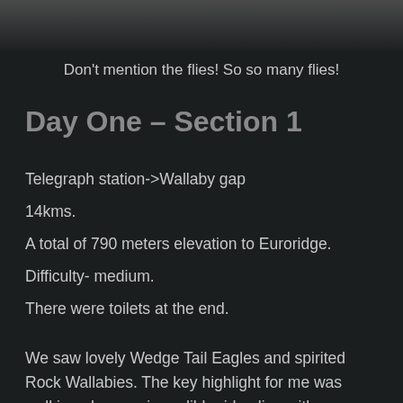[Figure (photo): Partial view of a person in dark clothing, cropped photo strip at top of page]
Don't mention the flies! So so many flies!
Day One – Section 1
Telegraph station->Wallaby gap
14kms.
A total of 790 meters elevation to Euroridge.
Difficulty- medium.
There were toilets at the end.
We saw lovely Wedge Tail Eagles and spirited Rock Wallabies. The key highlight for me was walking along an incredible ridge line with a